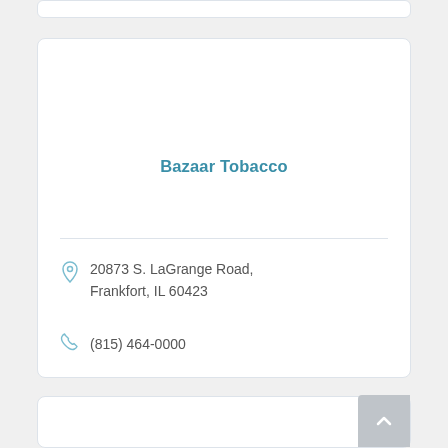Bazaar Tobacco
20873 S. LaGrange Road, Frankfort, IL 60423
(815) 464-0000